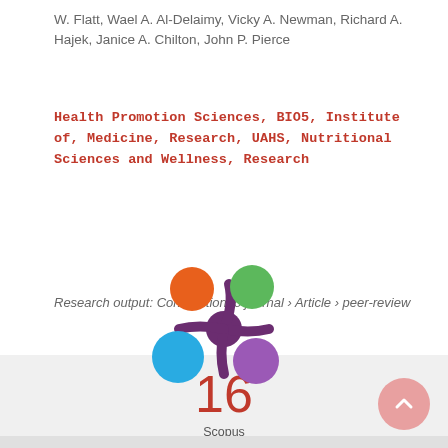W. Flatt, Wael A. Al-Delaimy, Vicky A. Newman, Richard A. Hajek, Janice A. Chilton, John P. Pierce
Health Promotion Sciences, BIO5, Institute of, Medicine, Research, UAHS, Nutritional Sciences and Wellness, Research
Research output: Contribution to journal › Article › peer-review
16 Scopus citations
[Figure (logo): Altmetric flower logo with colored circles (orange, green, blue, purple) arranged around a dark purple center splash]